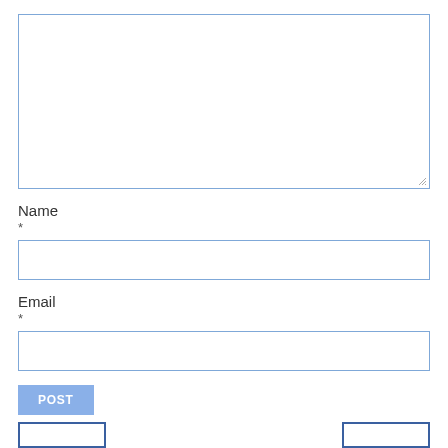[Figure (screenshot): A web form with a large textarea at the top (with blue border and resize handle), followed by a 'Name' label with asterisk and text input field, then an 'Email' label with asterisk and text input field, a 'POST' button, and two partially visible buttons at the bottom.]
Name
*
Email
*
POST